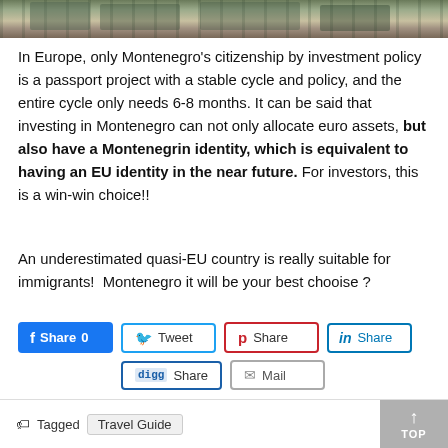[Figure (photo): Photograph banner of Mediterranean-style buildings, likely in Montenegro]
In Europe, only Montenegro's citizenship by investment policy is a passport project with a stable cycle and policy, and the entire cycle only needs 6-8 months. It can be said that investing in Montenegro can not only allocate euro assets, but also have a Montenegrin identity, which is equivalent to having an EU identity in the near future. For investors, this is a win-win choice!!
An underestimated quasi-EU country is really suitable for immigrants!  Montenegro it will be your best chooise ?
[Figure (other): Social sharing buttons: Facebook Share 0, Tweet, Pinterest Share, LinkedIn Share, Digg Share, Mail]
Tagged  Travel Guide  TOP